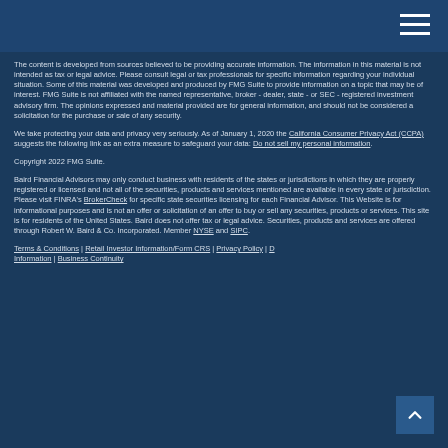The content is developed from sources believed to be providing accurate information. The information in this material is not intended as tax or legal advice. Please consult legal or tax professionals for specific information regarding your individual situation. Some of this material was developed and produced by FMG Suite to provide information on a topic that may be of interest. FMG Suite is not affiliated with the named representative, broker - dealer, state - or SEC - registered investment advisory firm. The opinions expressed and material provided are for general information, and should not be considered a solicitation for the purchase or sale of any security.
We take protecting your data and privacy very seriously. As of January 1, 2020 the California Consumer Privacy Act (CCPA) suggests the following link as an extra measure to safeguard your data: Do not sell my personal information.
Copyright 2022 FMG Suite.
Baird Financial Advisors may only conduct business with residents of the states or jurisdictions in which they are properly registered or licensed and not all of the securities, products and services mentioned are available in every state or jurisdiction. Please visit FINRA's BrokerCheck for specific state securities licensing for each Financial Advisor. This Website is for informational purposes and is not an offer or solicitation of an offer to buy or sell any securities, products or services. This site is for residents of the United States. Baird does not offer tax or legal advice. Securities, products and services are offered through Robert W. Baird & Co. Incorporated. Member NYSE and SIPC.
Terms & Conditions | Retail Investor Information/Form CRS | Privacy Policy | [Disclosure Information] | Business Continuity